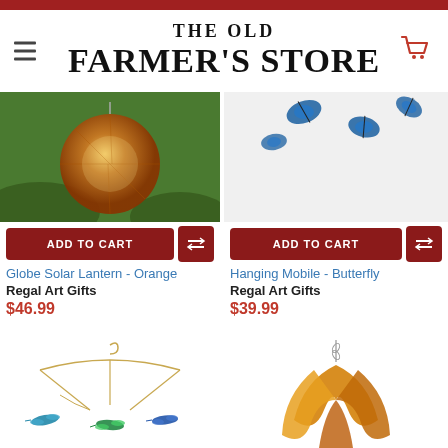THE OLD FARMER'S STORE
[Figure (photo): Globe Solar Lantern - Orange product photo, amber/orange crackle glass globe with lights inside, hanging outdoors]
ADD TO CART
Globe Solar Lantern - Orange
Regal Art Gifts
$46.99
[Figure (photo): Hanging Mobile - Butterfly product photo, blue butterfly ornaments on a mobile against white background]
ADD TO CART
Hanging Mobile - Butterfly
Regal Art Gifts
$39.99
[Figure (photo): Hanging mobile with hummingbirds on circular wire frames, colorful blue-green hummingbird ornaments]
[Figure (photo): Wind spinner or kinetic art sculpture with golden/orange flame-shaped metal blades, hanging from chain]